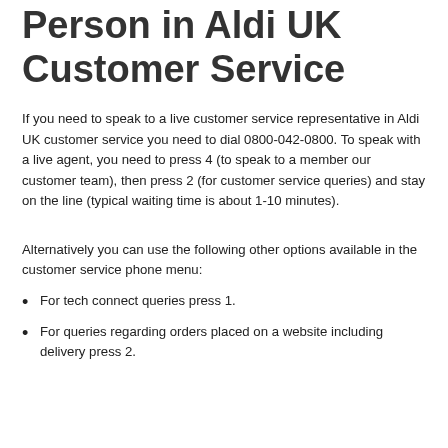Person in Aldi UK Customer Service
If you need to speak to a live customer service representative in Aldi UK customer service you need to dial 0800-042-0800. To speak with a live agent, you need to press 4 (to speak to a member our customer team), then press 2 (for customer service queries) and stay on the line (typical waiting time is about 1-10 minutes).
Alternatively you can use the following other options available in the customer service phone menu:
For tech connect queries press 1.
For queries regarding orders placed on a website including delivery press 2.